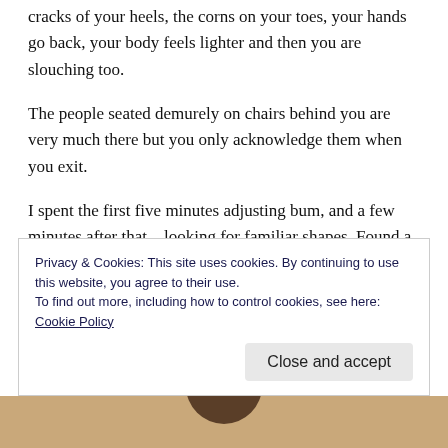cracks of your heels, the corns on your toes, your hands go back, your body feels lighter and then you are slouching too.
The people seated demurely on chairs behind you are very much there but you only acknowledge them when you exit.
I spent the first five minutes adjusting bum, and a few minutes after that – looking for familiar shapes. Found a couple but one can never be too sure so I stayed put and didn't grope them like I usually do (with consent, of
Privacy & Cookies: This site uses cookies. By continuing to use this website, you agree to their use.
To find out more, including how to control cookies, see here: Cookie Policy
Close and accept
[Figure (photo): Bottom portion of an image showing a warm tan/brown background with a partial circular dark shape visible at the top center.]